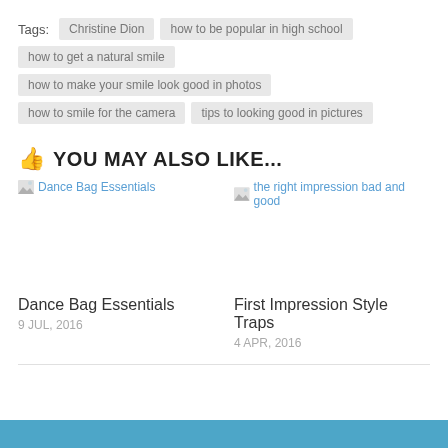Tags: Christine Dion · how to be popular in high school · how to get a natural smile · how to make your smile look good in photos · how to smile for the camera · tips to looking good in pictures
YOU MAY ALSO LIKE...
[Figure (screenshot): Broken image placeholder for Dance Bag Essentials]
Dance Bag Essentials
9 JUL, 2016
[Figure (screenshot): Broken image placeholder for the right impression bad and good]
First Impression Style Traps
4 APR, 2016